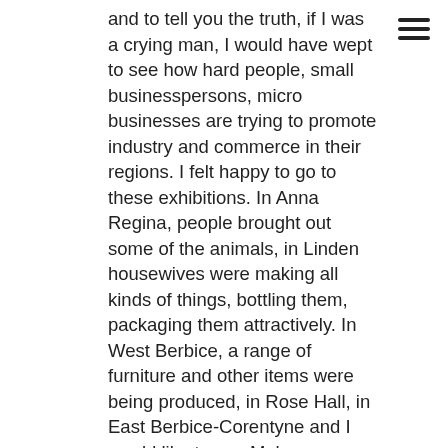and to tell you the truth, if I was a crying man, I would have wept to see how hard people, small businesspersons, micro businesses are trying to promote industry and commerce in their regions. I felt happy to go to these exhibitions. In Anna Regina, people brought out some of the animals, in Linden housewives were making all kinds of things, bottling them, packaging them attractively. In West Berbice, a range of furniture and other items were being produced, in Rose Hall, in East Berbice-Corentyne and I would like to see Mabaruma having an R.A.C.E – a Regional Agricultural and Commercial Exhibition. [Applause.]
I would like to see Bartica, I would like to see Lethem, I would like to see Mahdia and I would like to see Regions Three, Four and Five having regional, agricultural and commercial exhibitions. This is not something ornamental; it's something that your